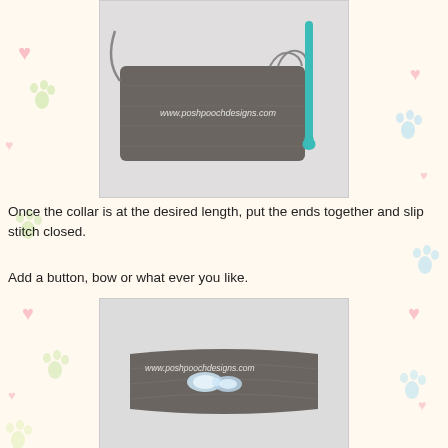[Figure (photo): Photo of a grey crochet collar in progress, with a teal crochet hook inserted, on a white background. Watermark: www.poshpoochdesigns.com]
Once the collar is at the desired length, put the ends together and slip stitch closed.
Add a button, bow or what ever you like.
[Figure (photo): Photo of a completed grey crochet dog collar with white/blue bow or button embellishment, on a white background. Watermark: www.poshpoochdesigns.com]